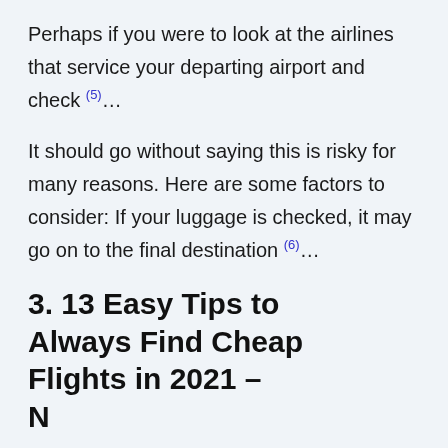Perhaps if you were to look at the airlines that service your departing airport and check (5)…
It should go without saying this is risky for many reasons. Here are some factors to consider: If your luggage is checked, it may go on to the final destination (6)…
3. 13 Easy Tips to Always Find Cheap Flights in 2021 – N...